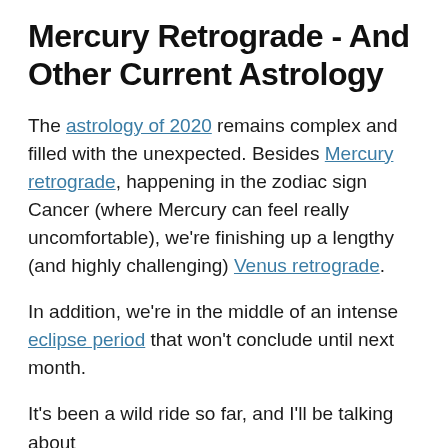Mercury Retrograde - And Other Current Astrology
The astrology of 2020 remains complex and filled with the unexpected. Besides Mercury retrograde, happening in the zodiac sign Cancer (where Mercury can feel really uncomfortable), we're finishing up a lengthy (and highly challenging) Venus retrograde.
In addition, we're in the middle of an intense eclipse period that won't conclude until next month.
It's been a wild ride so far, and I'll be talking about